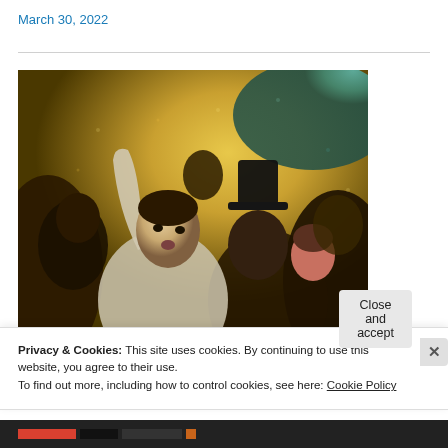March 30, 2022
[Figure (illustration): A classical painting depicting a crowd scene with a central female figure raising her arm, surrounded by people including a man in a top hat, rendered in warm yellow-brown tones with an impressionistic style.]
Privacy & Cookies: This site uses cookies. By continuing to use this website, you agree to their use.
To find out more, including how to control cookies, see here: Cookie Policy
Close and accept